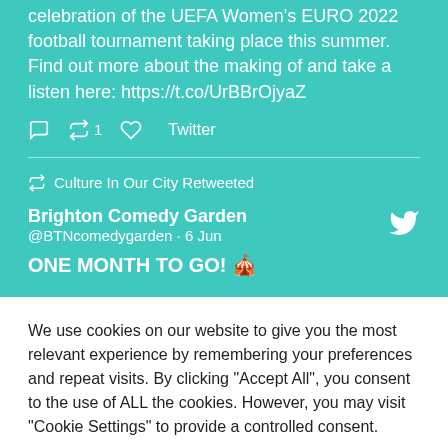celebration of the UEFA Women's EURO 2022 football tournament taking place this summer. Find out more about the making of and take a listen here: https://t.co/UrBBrOjyaZ
🔁 Culture In Our City Retweeted
Brighton Comedy Garden @BTNcomedygarden · 6 Jun
ONE MONTH TO GO! 🎪
We use cookies on our website to give you the most relevant experience by remembering your preferences and repeat visits. By clicking "Accept All", you consent to the use of ALL the cookies. However, you may visit "Cookie Settings" to provide a controlled consent.
Cookie Settings | Accept All